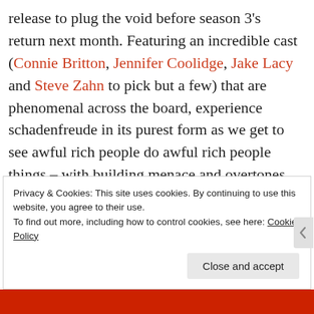release to plug the void before season 3's return next month. Featuring an incredible cast (Connie Britton, Jennifer Coolidge, Jake Lacy and Steve Zahn to pick but a few) that are phenomenal across the board, experience schadenfreude in its purest form as we get to see awful rich people do awful rich people things – with building menace and overtones that something properly awful is on the fast-approaching horizon.
Privacy & Cookies: This site uses cookies. By continuing to use this website, you agree to their use.
To find out more, including how to control cookies, see here: Cookie Policy